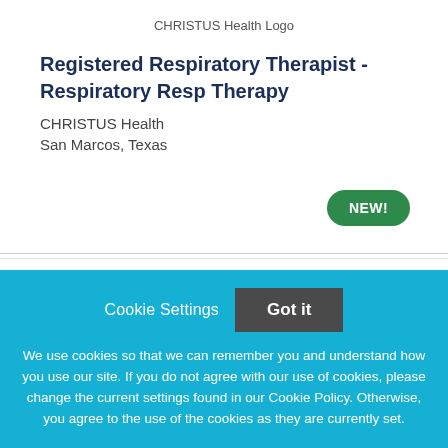[Figure (logo): CHRISTUS Health Logo]
Registered Respiratory Therapist - Respiratory Resp Therapy
CHRISTUS Health
San Marcos, Texas
NEW!
Cookie Settings  Got it
We use cookies so that we can remember you and understand how you use our site. If you do not agree with our use of cookies, please change the current settings found in our Cookie Policy. Otherwise, you agree to the use of the cookies as they are currently set.